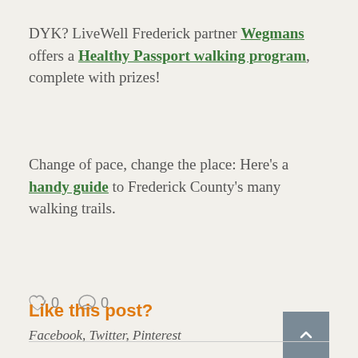DYK? LiveWell Frederick partner Wegmans offers a Healthy Passport walking program, complete with prizes!
Change of pace, change the place: Here's a handy guide to Frederick County's many walking trails.
♡ 0   💬 0
Like this post?
Facebook, Twitter, Pinterest